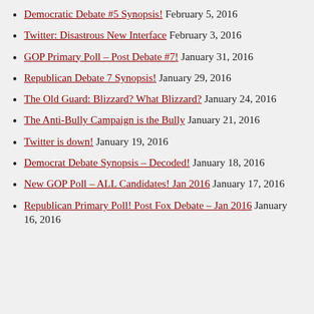Democratic Debate #5 Synopsis! February 5, 2016
Twitter: Disastrous New Interface February 3, 2016
GOP Primary Poll – Post Debate #7! January 31, 2016
Republican Debate 7 Synopsis! January 29, 2016
The Old Guard: Blizzard? What Blizzard? January 24, 2016
The Anti-Bully Campaign is the Bully January 21, 2016
Twitter is down! January 19, 2016
Democrat Debate Synopsis – Decoded! January 18, 2016
New GOP Poll – ALL Candidates! Jan 2016 January 17, 2016
Republican Primary Poll! Post Fox Debate – Jan 2016 January 16, 2016